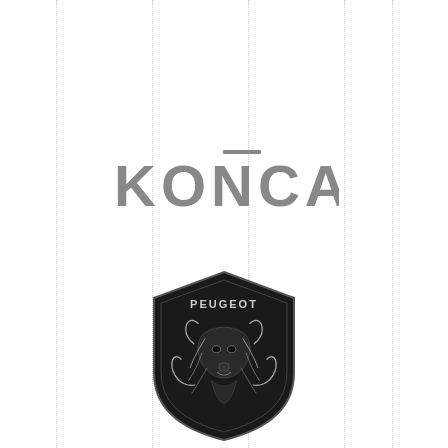[Figure (logo): KONCAR wordmark logo in gray with a macron (overline) above the letter C]
[Figure (logo): Peugeot shield logo — black shield with lion head and PEUGEOT text at top]